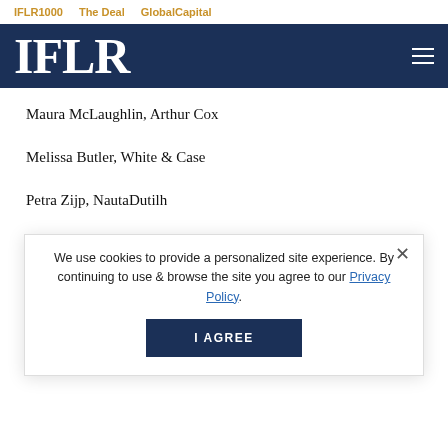IFLR1000   The Deal   GlobalCapital
IFLR
Maura McLaughlin, Arthur Cox
Melissa Butler, White & Case
Petra Zijp, NautaDutilh
Best in Commercial Arbitration
Gisela Knuts, Roschier
Isabelle Michou, Quinn Emanuel Urquhart
We use cookies to provide a personalized site experience. By continuing to use & browse the site you agree to our Privacy Policy.
I AGREE